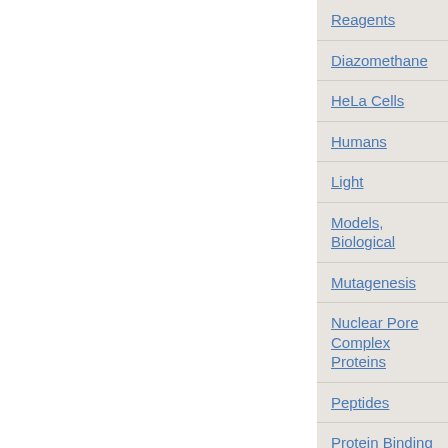Reagents
Diazomethane
HeLa Cells
Humans
Light
Models, Biological
Mutagenesis
Nuclear Pore Complex Proteins
Peptides
Protein Binding
Protein Processing, Post-Translational
Repetitive Sequences, Amino Acid